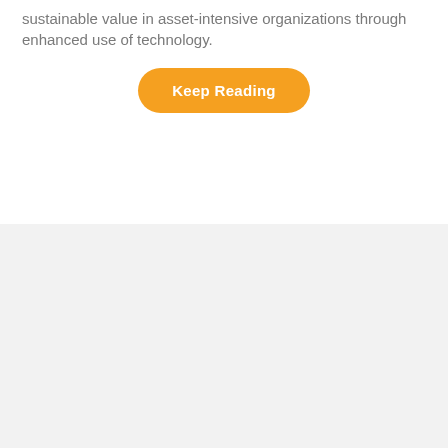sustainable value in asset-intensive organizations through enhanced use of technology.
[Figure (other): Orange rounded button with white bold text reading 'Keep Reading']
[Figure (other): Light gray empty section filling the bottom half of the page]